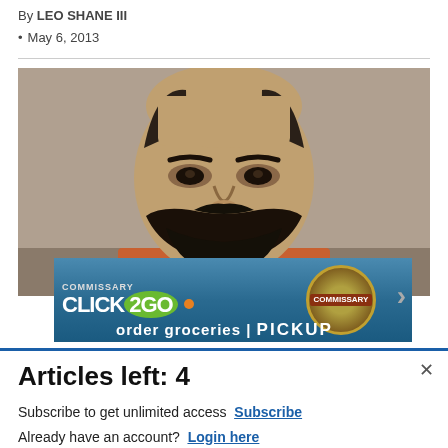By LEO SHANE III
May 6, 2013
[Figure (photo): Mugshot photo of a bearded man in an orange jumpsuit against a tan/brown background]
[Figure (screenshot): Advertisement banner for Commissary Click2Go — order groceries pickup]
Articles left: 4
Subscribe to get unlimited access Subscribe
Already have an account? Login here